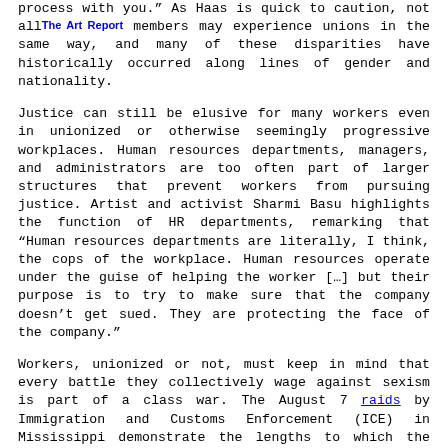process with you." As Haas is quick to caution, not all members may experience unions in the same way, and many of these disparities have historically occurred along lines of gender and nationality.
Justice can still be elusive for many workers even in unionized or otherwise seemingly progressive workplaces. Human resources departments, managers, and administrators are too often part of larger structures that prevent workers from pursuing justice. Artist and activist Sharmi Basu highlights the function of HR departments, remarking that “Human resources departments are literally, I think, the cops of the workplace. Human resources operate under the guise of helping the worker […] but their purpose is to try to make sure that the company doesn’t get sued. They are protecting the face of the company.”
Workers, unionized or not, must keep in mind that every battle they collectively wage against sexism is part of a class war. The August 7 raids by Immigration and Customs Enforcement (ICE) in Mississippi demonstrate the lengths to which the capitalist ruling class will go to prosecute this war. In an